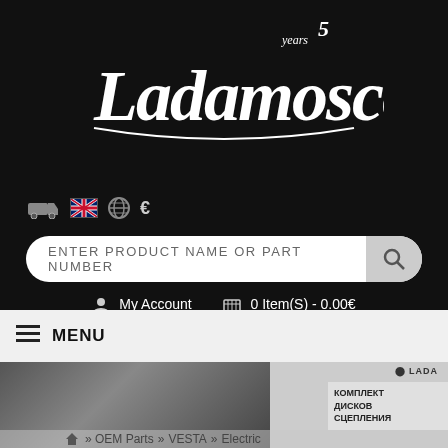[Figure (logo): LadaMoscow script logo with 'years 5' superscript, white text on black background]
[Figure (infographic): Icon row: truck/shipping icon, UK flag icon, globe icon, Euro currency symbol]
ENTER PRODUCT NAME OR PART NUMBER
My Account   0 Item(S) - 0.00€
MENU
[Figure (photo): Grayscale product photo showing clutch disc parts and a product packaging box with Cyrillic text 'КОМПЛЕКТ ДИСКОВ СЦЕПЛЕНИЯ' and LADA logo]
» OEM Parts » VESTA » Electric